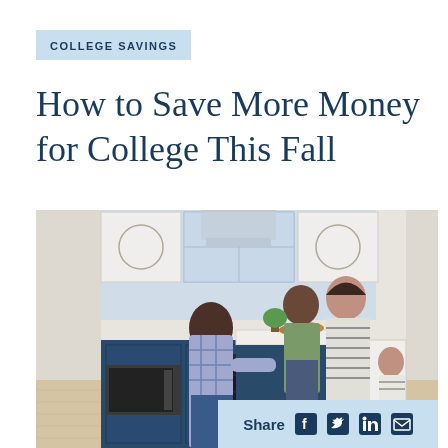COLLEGE SAVINGS
How to Save More Money for College This Fall
[Figure (photo): Family in a kitchen with blue cabinets; a child in a plaid shirt reaches toward the kitchen island where a woman in a striped dress and a teenager in a green shirt are gathered; a toddler runs in the background on light wood floors]
Share